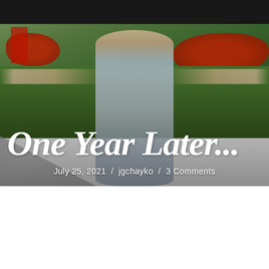[Figure (photo): Woman in a strapless floral blue dress with arms outstretched, wearing orange tinted sunglasses, smiling broadly, standing in front of a garden with red flowers and green lawn, with a dark fence and urban background. Blog hero image.]
One Year Later...
July 25, 2021 / jgchayko / 3 Comments